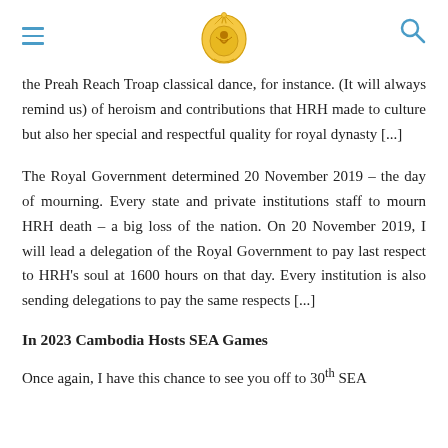[Logo: Royal Government of Cambodia emblem] [Hamburger menu] [Search icon]
the Preah Reach Troap classical dance, for instance. (It will always remind us) of heroism and contributions that HRH made to culture but also her special and respectful quality for royal dynasty [...]
The Royal Government determined 20 November 2019 – the day of mourning. Every state and private institutions staff to mourn HRH death – a big loss of the nation. On 20 November 2019, I will lead a delegation of the Royal Government to pay last respect to HRH's soul at 1600 hours on that day. Every institution is also sending delegations to pay the same respects [...]
In 2023 Cambodia Hosts SEA Games
Once again, I have this chance to see you off to 30th SEA